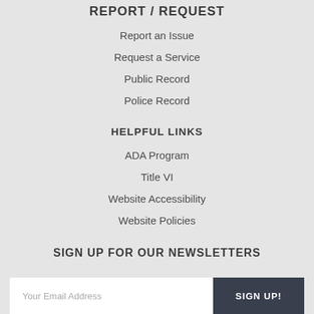REPORT / REQUEST
Report an Issue
Request a Service
Public Record
Police Record
HELPFUL LINKS
ADA Program
Title VI
Website Accessibility
Website Policies
SIGN UP FOR OUR NEWSLETTERS
Your Email Address
SIGN UP!